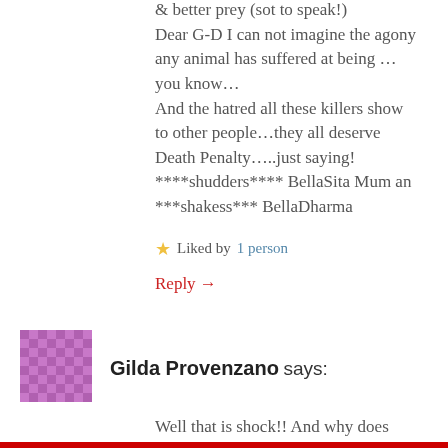& better prey (sot to speak!)
Dear G-D I can not imagine the agony any animal has suffered at being ...you know...
And the hatred all these killers show to other people...they all deserve Death Penalty.....just saying!
****shudders**** BellaSita Mum an ***shakess*** BellaDharma
★ Liked by 1person
Reply →
[Figure (illustration): Purple/pink pixel pattern avatar for Gilda Provenzano]
Gilda Provenzano says:
Well that is shock!! And why does ANY